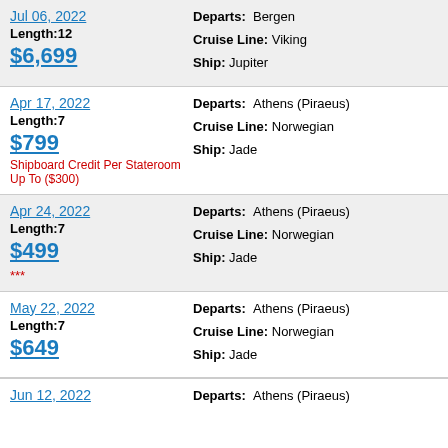| Date/Price | Details |
| --- | --- |
| Jul 06, 2022
Length:12
$6,699 | Departs:  Bergen
Cruise Line: Viking
Ship: Jupiter |
| Apr 17, 2022
Length:7
$799
Shipboard Credit Per Stateroom Up To ($300) | Departs:  Athens (Piraeus)
Cruise Line: Norwegian
Ship: Jade |
| Apr 24, 2022
Length:7
$499
*** | Departs:  Athens (Piraeus)
Cruise Line: Norwegian
Ship: Jade |
| May 22, 2022
Length:7
$649 | Departs:  Athens (Piraeus)
Cruise Line: Norwegian
Ship: Jade |
| Jun 12, 2022
... | Departs:  Athens (Piraeus)
... |